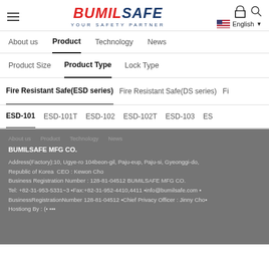BUMILSAFE - YOUR SAFETY PARTNER
About us | Product | Technology | News
Product Size | Product Type | Lock Type
Fire Resistant Safe(ESD series) | Fire Resistant Safe(DS series) | Fi...
ESD-101 | ESD-101T | ESD-102 | ESD-102T | ESD-103 | ES...
BUMILSAFE MFG CO.
Address(Factory):10, Ugye-ro 104beon-gil, Paju-eup, Paju-si, Gyeonggi-do, Republic of Korea  CEO : Kewon Cho
Business Registration Number : 128-81-04512 BUMILSAFE MFG CO.
Tel: +82-31-953-5331~3 ■Fax:+82-31-952-4410,4411 ■info@bumilsafe.com ■
BusinessRegistrationNumber 128-81-04512 ■Chief Privacy Officer : Jinny Cho■
Hostiong By : (■ ▪▪▪